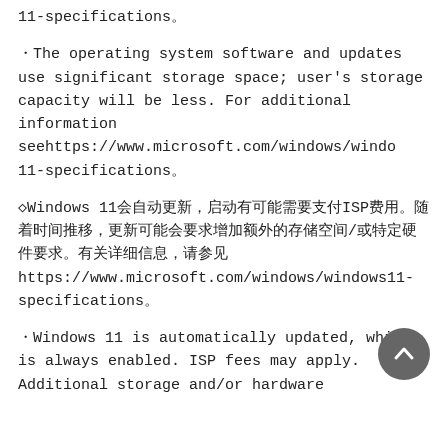11-specifications。
・The operating system software and updates use significant storage space; user's storage capacity will be less. For additional information seehttps://www.microsoft.com/windows/windo11-specifications。
◇Windows 11会自动更新，启动有可能需要支付ISP费用。随着时间推移，更新可能会要求增加额外的存储空间/或特定硬件要求。有关详细信息，请参见 https://www.microsoft.com/windows/windows11-specifications。
・Windows 11 is automatically updated, which is always enabled. ISP fees may apply. Additional storage and/or hardware requirements may apply, as required for